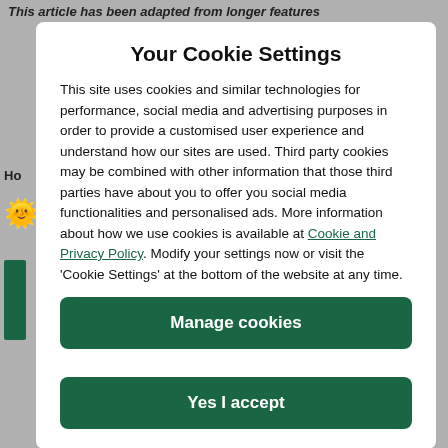This article has been adapted from longer features
Your Cookie Settings
This site uses cookies and similar technologies for performance, social media and advertising purposes in order to provide a customised user experience and understand how our sites are used. Third party cookies may be combined with other information that those third parties have about you to offer you social media functionalities and personalised ads. More information about how we use cookies is available at Cookie and Privacy Policy. Modify your settings now or visit the 'Cookie Settings' at the bottom of the website at any time.
Manage cookies
Yes I accept